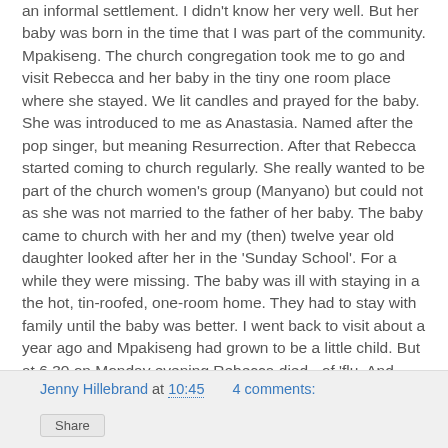an informal settlement. I didn't know her very well. But her baby was born in the time that I was part of the community. Mpakiseng. The church congregation took me to go and visit Rebecca and her baby in the tiny one room place where she stayed. We lit candles and prayed for the baby. She was introduced to me as Anastasia. Named after the pop singer, but meaning Resurrection. After that Rebecca started coming to church regularly. She really wanted to be part of the church women's group (Manyano) but could not as she was not married to the father of her baby. The baby came to church with her and my (then) twelve year old daughter looked after her in the 'Sunday School'. For a while they were missing. The baby was ill with staying in a the hot, tin-roofed, one-room home. They had to stay with family until the baby was better. I went back to visit about a year ago and Mpakiseng had grown to be a little child. But at 6.30 on Monday evening Rebecca died - of 'flu. And, really, that is just as tragic as the bridge collapsing. And it hurts.
Jenny Hillebrand at 10:45   4 comments: